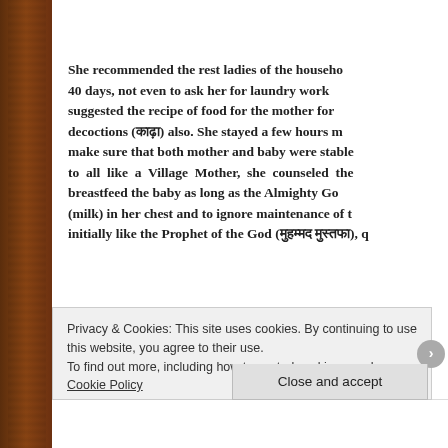She recommended the rest ladies of the household 40 days, not even to ask her for laundry work suggested the recipe of food for the mother for decoctions (काढ़ा) also. She stayed a few hours m make sure that both mother and baby were stable to all like a Village Mother, she counseled the breastfeed the baby as long as the Almighty Go (milk) in her chest and to ignore maintenance of t initially like the Prophet of the God (मुहम्मद मुस्तफा), q
Before reaching my conclusion, I cannot withho
Privacy & Cookies: This site uses cookies. By continuing to use this website, you agree to their use. To find out more, including how to control cookies, see here: Cookie Policy
Close and accept